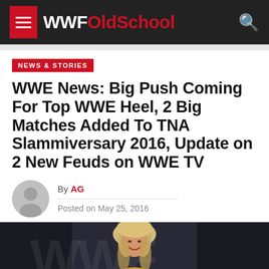WWFOldSchool
NEWS & STORIES
WWE News: Big Push Coming For Top WWE Heel, 2 Big Matches Added To TNA Slammiversary 2016, Update on 2 New Feuds on WWE TV
By AG
Posted on May 25, 2016
[Figure (photo): Photo of a person (wrestler) with long blond hair, smiling, against a dark background with WWF logo watermark]